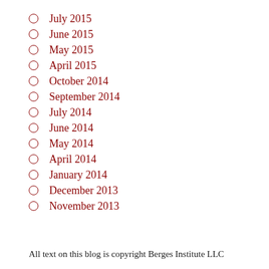July 2015
June 2015
May 2015
April 2015
October 2014
September 2014
July 2014
June 2014
May 2014
April 2014
January 2014
December 2013
November 2013
All text on this blog is copyright Berges Institute LLC